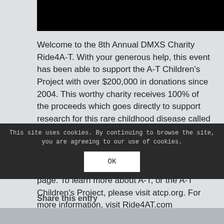[Figure (photo): Black image/banner at the top of the page]
Welcome to the 8th Annual DMXS Charity Ride4A-T. With your generous help, this event has been able to support the A-T Children's Project with over $200,000 in donations since 2004. This worthy charity receives 100% of the proceeds which goes directly to support research for this rare childhood disease called Ataxia Telangiectasia, or A-T. Our own Savanna Hamrick has this rare and devastating disease and you can read her story by clicking the link at the bottom of this page. To learn more about A-T, or the A-T Children's Project, please visit atcp.org. For more information, visit Ride4AT.com
This site uses cookies. By continuing to browse the site, you are agreeing to our use of cookies.
Share this entry